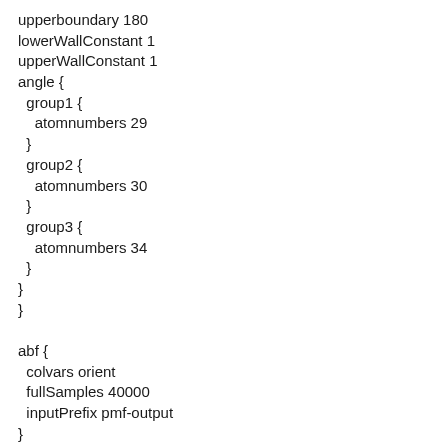upperboundary 180
lowerWallConstant 1
upperWallConstant 1
angle {
  group1 {
    atomnumbers 29
  }
  group2 {
    atomnumbers 30
  }
  group3 {
    atomnumbers 34
  }
}
}

abf {
  colvars orient
  fullSamples 40000
  inputPrefix pmf-output
}
************************************************************
Thanks for your time.
Best,